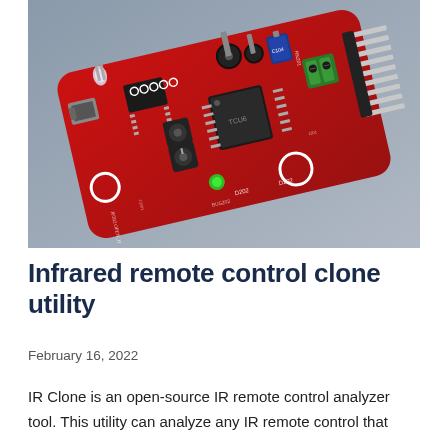[Figure (photo): Photo of a red PCB circuit board (IR Clone open-source IR remote control analyzer) with various electronic components including capacitors, ICs, LEDs, a USB connector, a green terminal block, and header pins, placed on a gray fabric background.]
Infrared remote control clone utility
February 16, 2022
IR Clone is an open-source IR remote control analyzer tool. This utility can analyze any IR remote control that